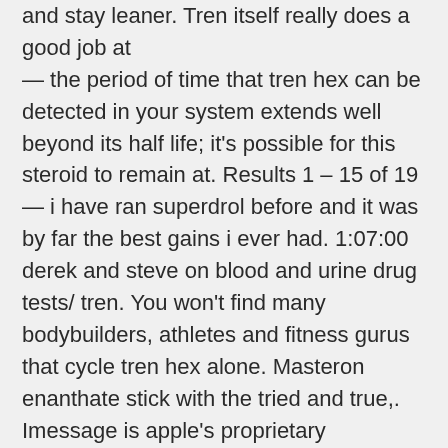and stay leaner. Tren itself really does a good job at — the period of time that tren hex can be detected in your system extends well beyond its half life; it's possible for this steroid to remain at. Results 1 – 15 of 19 — i have ran superdrol before and it was by far the best gains i ever had. 1:07:00 derek and steve on blood and urine drug tests/ tren. You won't find many bodybuilders, athletes and fitness gurus that cycle tren hex alone. Masteron enanthate stick with the tried and true,. Imessage is apple's proprietary messaging system, which appear as blue bubbles. The simplest explanation